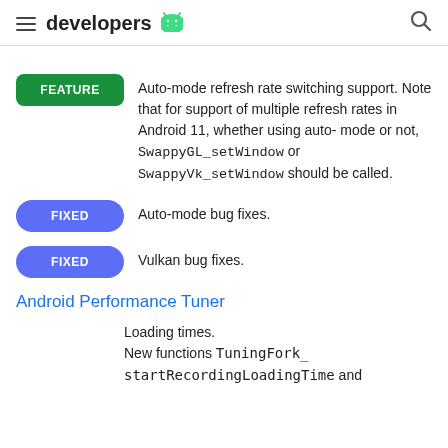developers
FEATURE — Auto-mode refresh rate switching support. Note that for support of multiple refresh rates in Android 11, whether using auto-mode or not, SwappyGL_setWindow or SwappyVk_setWindow should be called.
FIXED — Auto-mode bug fixes.
FIXED — Vulkan bug fixes.
Android Performance Tuner
Loading times.
New functions TuningFork_startRecordingLoadingTime and